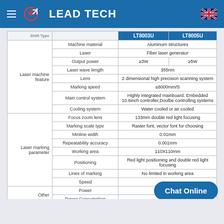LEAD TECH
| Category | Parameter | LT8003U | LT8005U |
| --- | --- | --- | --- |
| Laser machine feature | Machine material | Aluminum structures | Aluminum structures |
| Laser machine feature | Laser | Fiber laser generator | Fiber laser generator |
| Laser machine feature | Output power | ≥3W | ≥5W |
| Laser machine feature | Laser wave length | 355nm | 355nm |
| Laser machine feature | Lens | 2 dimensional high precision scanning system | 2 dimensional high precision scanning system |
| Laser machine feature | Marking speed | ≤8000mm/S | ≤8000mm/S |
| Laser machine feature | Main control system | Highly integrated mainboard. Embedded 10.6inch controller,Doulbe controlling systems | Highly integrated mainboard. Embedded 10.6inch controller,Doulbe controlling systems |
| Laser machine feature | Cooling system | Water cooled or air cooled | Water cooled or air cooled |
| Laser marking parameter | Focus zoom lens | 133mm double red light focusing | 133mm double red light focusing |
| Laser marking parameter | Marking scale type | Raster font, vector font for choosing | Raster font, vector font for choosing |
| Laser marking parameter | Minline width | 0.01mm | 0.01mm |
| Laser marking parameter | Repeatability accuracy | 0.001mm | 0.001mm |
| Laser marking parameter | Working area | 110X110mm | 110X110mm |
| Laser marking parameter | Positioning | Red light positioning and double red light focusing | Red light positioning and double red light focusing |
| Laser marking parameter | Lines of marking | No limited in working area | No limited in working area |
| Laser marking parameter | Speed |  |  |
| Other | Power |  |  |
| Other | Power Consumption | 600W | 600W |